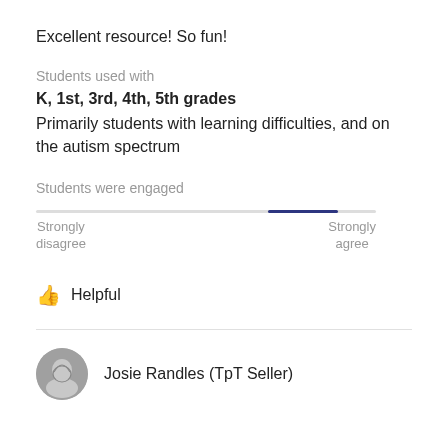Excellent resource! So fun!
Students used with
K, 1st, 3rd, 4th, 5th grades
Primarily students with learning difficulties, and on the autism spectrum
Students were engaged
[Figure (other): Horizontal slider/rating bar showing position between 'Strongly disagree' and 'Strongly agree', with the indicator placed near the 'Strongly agree' end]
Helpful
Josie Randles (TpT Seller)